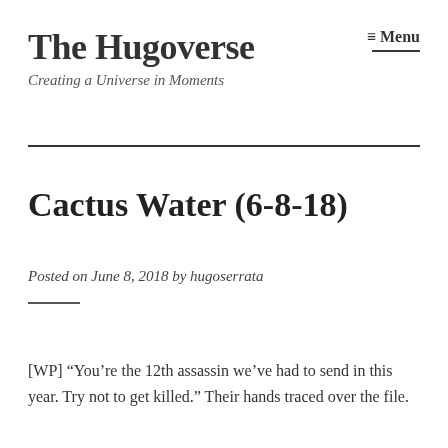The Hugoverse
Creating a Universe in Moments
≡ Menu
Cactus Water (6-8-18)
Posted on June 8, 2018 by hugoserrata
[WP] “You’re the 12th assassin we’ve had to send in this year. Try not to get killed.” Their hands traced over the file.